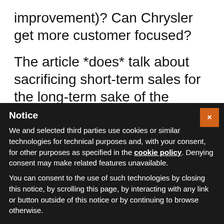improvement)? Can Chrysler get more customer focused?
The article *does* talk about sacrificing short-term sales for the long-term sake of the company (again, something that GM has also struggled with). Do you think that's the influence of Press or, again, is that something that other leaders (such as Nardelli) could have
Notice
We and selected third parties use cookies or similar technologies for technical purposes and, with your consent, for other purposes as specified in the cookie policy. Denying consent may make related features unavailable.
You can consent to the use of such technologies by closing this notice, by scrolling this page, by interacting with any link or button outside of this notice or by continuing to browse otherwise.